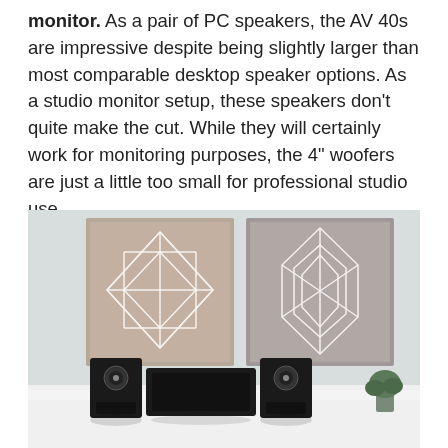monitor. As a pair of PC speakers, the AV 40s are impressive despite being slightly larger than most comparable desktop speaker options. As a studio monitor setup, these speakers don’t quite make the cut. While they will certainly work for monitoring purposes, the 4” woofers are just a little too small for professional studio use.
[Figure (photo): A photo of two geometric abstract wall art pieces hanging on a light gray wall, with two desktop speakers and audio equipment on a white surface below them, and a small plant visible at the lower right.]